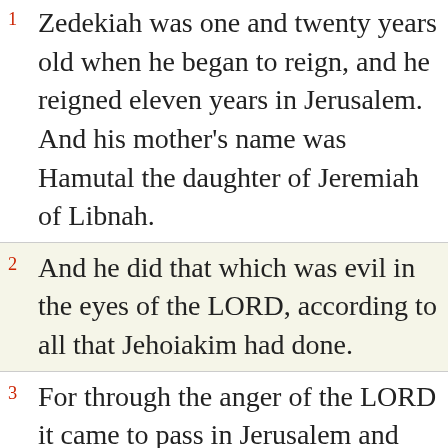1 Zedekiah was one and twenty years old when he began to reign, and he reigned eleven years in Jerusalem. And his mother's name was Hamutal the daughter of Jeremiah of Libnah.
2 And he did that which was evil in the eyes of the LORD, according to all that Jehoiakim had done.
3 For through the anger of the LORD it came to pass in Jerusalem and Judah, till he had cast them out from his presence, that Zedekiah rebelled against the king of Babylon.
4 And it came to pass in the ninth year of his reign, in the tenth month, in the tenth day of the month, that Nebuchadrezzar king of Babylon came, he and all his army, against